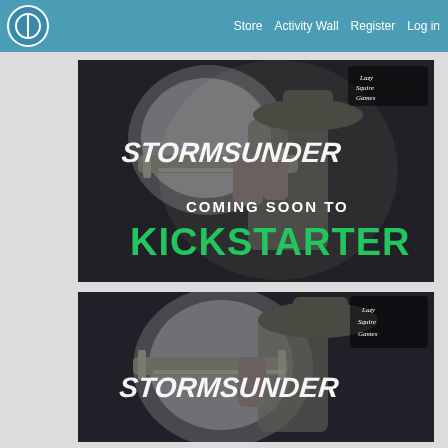Store  Activity Wall  Register  Log in
[Figure (photo): Stormsunder miniature figure – a gunslinger/warrior character in a wide-brim hat aiming a large crossbow-like weapon toward the viewer, grey unpainted resin. Text overlay: 'STORMSUNDER' in white italic, 'COMING SOON TO' in white, 'KICKSTARTER' in bright green bold lettering. Lazy Squire Games logo top-right.]
[Figure (photo): Stormsunder miniature figure – same character as above but closer framing, showing the hat and weapon detail, grey unpainted resin. Text overlay: 'STORMSUNDER' in white italic. Lazy Squire Games logo top-right.]